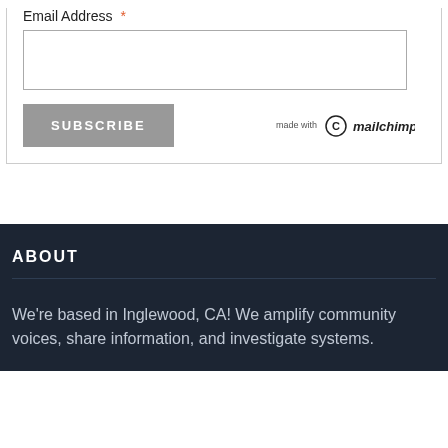Email Address *
SUBSCRIBE
ABOUT
We're based in Inglewood, CA! We amplify community voices, share information, and investigate systems.